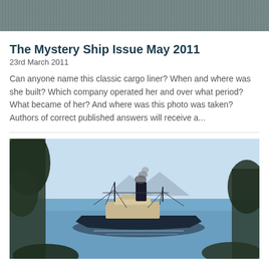[Figure (photo): Top portion of a black and white photo showing choppy water or sea surface]
The Mystery Ship Issue May 2011
23rd March 2011
Can anyone name this classic cargo liner? When and where was she built? Which company operated her and over what period? What became of her? And where was this photo was taken? Authors of correct published answers will receive a...
[Figure (photo): Color photograph of a vintage cargo ship with a single smokestack emitting smoke, sailing in blue water. Trees in the foreground frame the scene, with mountains visible in the background.]